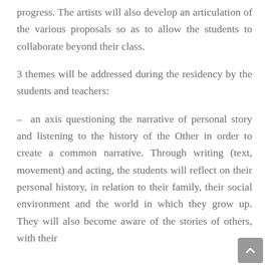progress. The artists will also develop an articulation of the various proposals so as to allow the students to collaborate beyond their class.
3 themes will be addressed during the residency by the students and teachers:
– an axis questioning the narrative of personal story and listening to the history of the Other in order to create a common narrative. Through writing (text, movement) and acting, the students will reflect on their personal history, in relation to their family, their social environment and the world in which they grow up. They will also become aware of the stories of others, with their